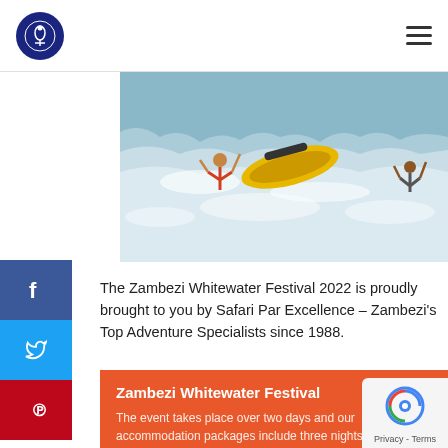Safari Par Excellence – navigation header with logo and hamburger menu
[Figure (photo): Action photo of whitewater rafting on the Zambezi river — yellow raft overturned in white rapids with people in the water]
The Zambezi Whitewater Festival 2022 is proudly brought to you by Safari Par Excellence – Zambezi's Top Adventure Specialists since 1988.
Zambezi Whitewater Festival
The event takes place over two days and our accommodation packages include three nights accommodation and access to all the events around the river festival.